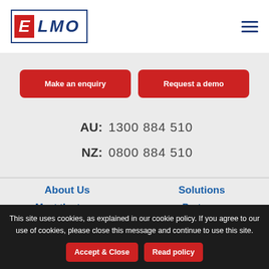[Figure (logo): ELMO logo with red E box and blue LMO text in a bordered box]
Make an enquiry
Request a demo
AU:  1300 884 510
NZ:  0800 884 510
About Us
Solutions
Meet the team
Partners
This site uses cookies, as explained in our cookie policy. If you agree to our use of cookies, please close this message and continue to use this site.
Accept & Close
Read policy